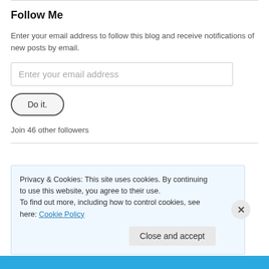Follow Me
Enter your email address to follow this blog and receive notifications of new posts by email.
Enter your email address
Do it.
Join 46 other followers
Privacy & Cookies: This site uses cookies. By continuing to use this website, you agree to their use.
To find out more, including how to control cookies, see here: Cookie Policy
Close and accept